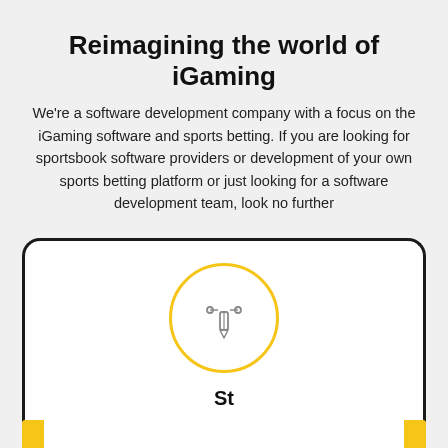Reimagining the world of iGaming
We're a software development company with a focus on the iGaming software and sports betting. If you are looking for sportsbook software providers or development of your own sports betting platform or just looking for a software development team, look no further
[Figure (illustration): A white card with a yellow-and-black border/rounded corners, containing a circular yellow-outlined icon with a pen/bezier tool graphic inside, partially visible at the bottom of the page.]